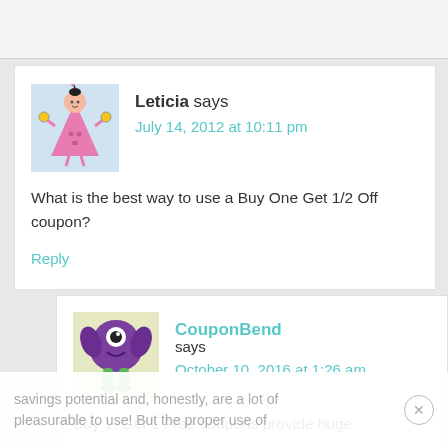[Figure (illustration): Avatar of Leticia: cartoon pink tree-shaped figure with a face, holding objects, on light blue background]
Leticia says
July 14, 2012 at 10:11 pm
What is the best way to use a Buy One Get 1/2 Off coupon?
Reply
[Figure (illustration): Avatar of CouponBend: cartoon purple monster/alien creature with one eye and green legs, on light yellow-green background]
CouponBend says
October 10, 2016 at 1:26 am
Buy 1, Get 1 Free coupons provide huge
savings potential and, honestly, are a lot of pleasurable to use! But the proper use of